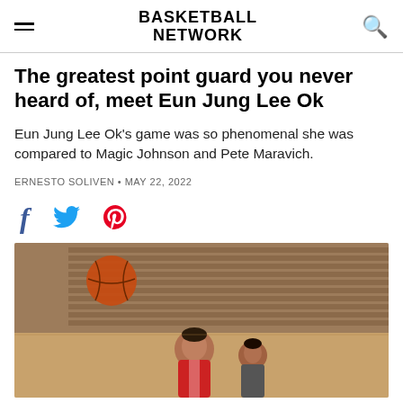BASKETBALL NETWORK
The greatest point guard you never heard of, meet Eun Jung Lee Ok
Eun Jung Lee Ok's game was so phenomenal she was compared to Magic Johnson and Pete Maravich.
ERNESTO SOLIVEN · MAY 22, 2022
[Figure (photo): Sepia-toned vintage basketball photo showing a female player in action on a court with stadium seats visible in background, and a basketball visible in the upper portion. Another player visible behind her.]